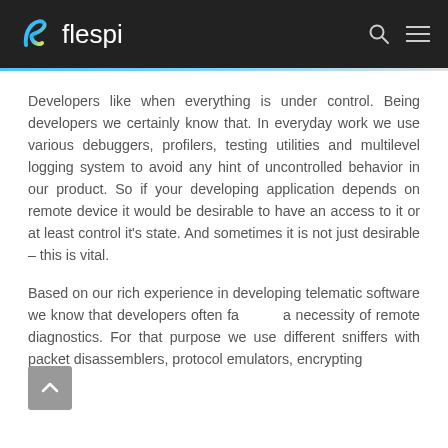flespi
Developers like when everything is under control. Being developers we certainly know that. In everyday work we use various debuggers, profilers, testing utilities and multilevel logging system to avoid any hint of uncontrolled behavior in our product. So if your developing application depends on remote device it would be desirable to have an access to it or at least control it's state. And sometimes it is not just desirable – this is vital.
Based on our rich experience in developing telematic software we know that developers often face a necessity of remote diagnostics. For that purpose we use different sniffers with packet disassemblers, protocol emulators, encrypting